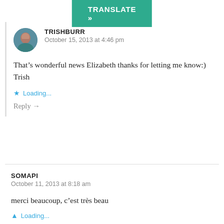[Figure (other): Green TRANSLATE button at top center]
[Figure (photo): Round avatar photo of user TRISHBURR]
TRISHBURR
October 15, 2013 at 4:46 pm
That’s wonderful news Elizabeth thanks for letting me know:) Trish
Loading...
Reply →
SOMAPI
October 11, 2013 at 8:18 am
merci beaucoup, c’est très beau
Loading...